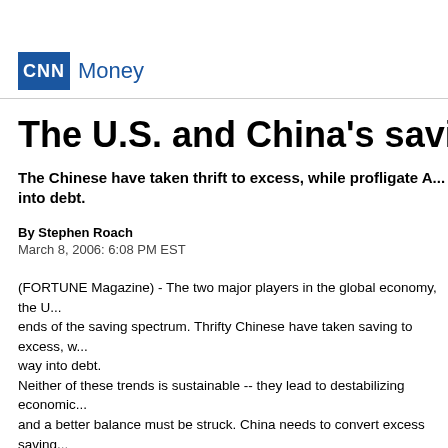CNN Money
The U.S. and China's savings pro...
The Chinese have taken thrift to excess, while profligate A... into debt.
By Stephen Roach
March 8, 2006: 6:08 PM EST
(FORTUNE Magazine) - The two major players in the global economy, the U... ends of the saving spectrum. Thrifty Chinese have taken saving to excess, w... way into debt.
Neither of these trends is sustainable -- they lead to destabilizing economic... and a better balance must be struck. China needs to convert excess saving... end its buying binge and rediscover the art of saving.
The numbers leave little doubt as to the extraordinary contrast between the... economies. Last year China saved about half of its gross domestic product,... some $1.1 trillion. At the same time, the U.S. saved only 13% of its national... income, or $1.6 trillion. That's right, the U.S., whose economy is six time th...